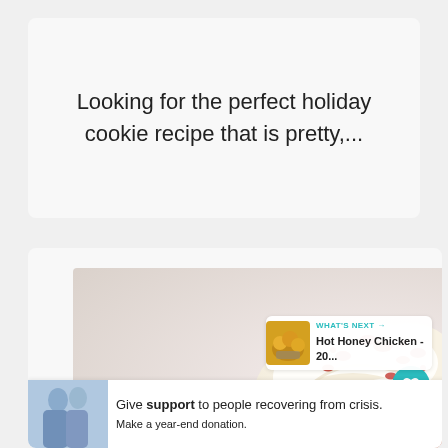Looking for the perfect holiday cookie recipe that is pretty,...
[Figure (photo): Close-up photo of a red velvet dessert topped with swirled whipped cream and red crumbles, styled on a light background]
WHAT'S NEXT → Hot Honey Chicken - 20...
Give support to people recovering from crisis. Make a year-end donation.